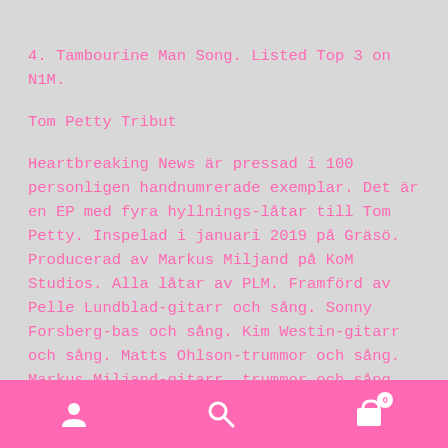4. Tambourine Man Song. Listed Top 3 on N1M.
Tom Petty Tribut
Heartbreaking News är pressad i 100 personligen handnumrerade exemplar. Det är en EP med fyra hyllnings-låtar till Tom Petty. Inspelad i januari 2019 på Gräsö. Producerad av Markus Miljand på KoM Studios. Alla låtar av PLM. Framförd av Pelle Lundblad-gitarr och sång. Sonny Forsberg-bas och sång. Kim Westin-gitarr och sång. Matts Ohlson-trummor och sång. Markus Miljand-gitarr, trummor och sång. Konstomslag av Sonny Forsberg. Alla texter tryckta på baksidan. Heartbreaking News är